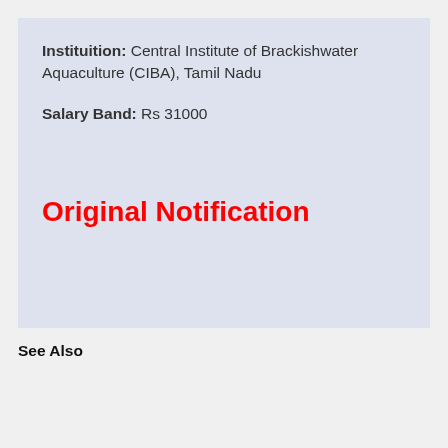Instituition: Central Institute of Brackishwater Aquaculture (CIBA), Tamil Nadu
Salary Band: Rs 31000
Original Notification
See Also